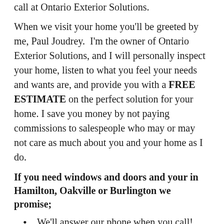call at Ontario Exterior Solutions.
When we visit your home you'll be greeted by me, Paul Joudrey. I'm the owner of Ontario Exterior Solutions, and I will personally inspect your home, listen to what you feel your needs and wants are, and provide you with a FREE ESTIMATE on the perfect solution for your home. I save you money by not paying commissions to salespeople who may or may not care as much about you and your home as I do.
If you need windows and doors and your in Hamilton, Oakville or Burlington we promise;
We'll answer our phone when you call!
If we're on another call we'll respond to your message promptly!
We'll set an appointment